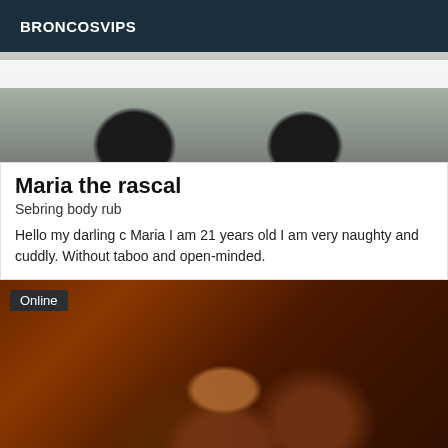BRONCOSVIPS
[Figure (photo): Top portion of an image showing two dark sunglasses on a light/white background]
Maria the rascal
Sebring body rub
Hello my darling c Maria I am 21 years old I am very naughty and cuddly. Without taboo and open-minded.
[Figure (photo): Photo of a person in a dimly lit reddish-brown room, with an 'Online' badge overlay in the top-left corner]